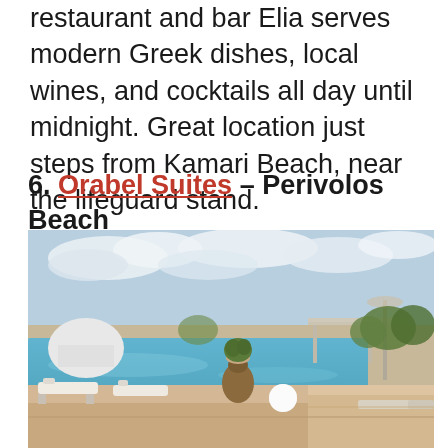restaurant and bar Elia serves modern Greek dishes, local wines, and cocktails all day until midnight. Great location just steps from Kamari Beach, near the lifeguard stand.
6. Orabel Suites – Perivolos Beach
[Figure (photo): Outdoor pool area of Orabel Suites at Perivolos Beach. Blue pool with lounge chairs, a large decorative vase, white spherical decorations, a pergola structure in the background, cloudy sky, and lush greenery.]